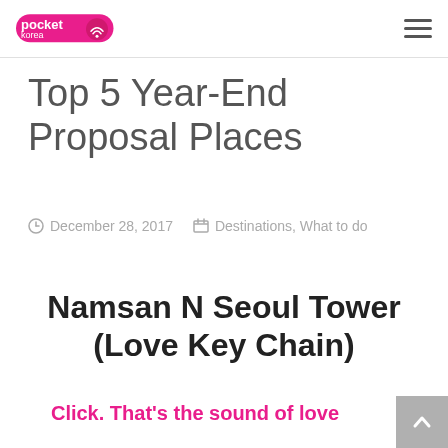pocket korea wifi
Top 5 Year-End Proposal Places
December 28, 2017   Destinations, What to do
Namsan N Seoul Tower (Love Key Chain)
Click. That's the sound of love